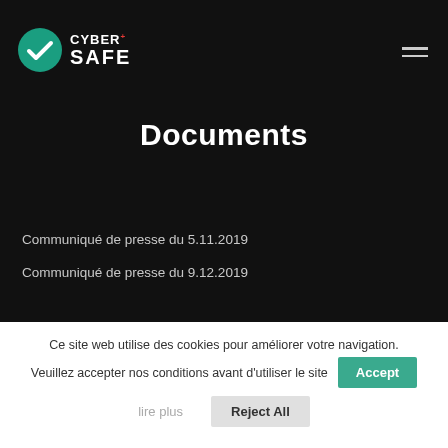[Figure (logo): CyberSafe logo with teal checkmark shield icon and white text CYBER+SAFE]
Documents
Communiqué de presse du 5.11.2019
Communiqué de presse du 9.12.2019
Ce site web utilise des cookies pour améliorer votre navigation. Veuillez accepter nos conditions avant d'utiliser le site
lire plus
Accept
Reject All